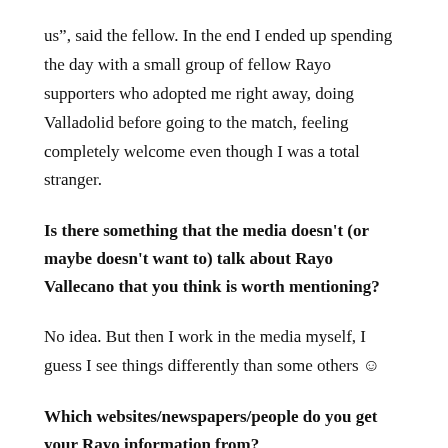us", said the fellow. In the end I ended up spending the day with a small group of fellow Rayo supporters who adopted me right away, doing Valladolid before going to the match, feeling completely welcome even though I was a total stranger.
Is there something that the media doesn't (or maybe doesn't want to) talk about Rayo Vallecano that you think is worth mentioning?
No idea. But then I work in the media myself, I guess I see things differently than some others ☺
Which websites/newspapers/people do you get your Rayo information from?